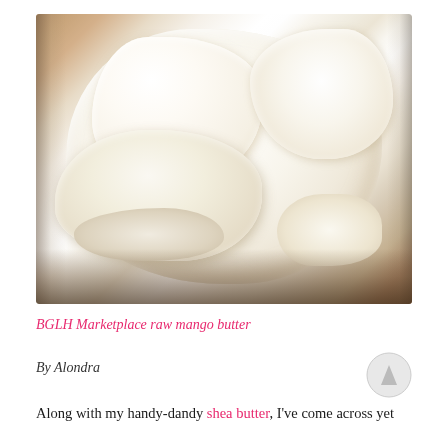[Figure (photo): A glass jar filled with chunky white raw mango butter, sitting on a wooden surface. The butter appears in large, irregular white chunks inside a clear glass jar.]
BGLH Marketplace raw mango butter
By Alondra
Along with my handy-dandy shea butter, I've come across yet